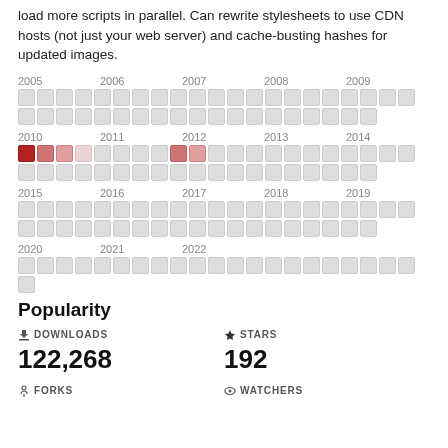load more scripts in parallel. Can rewrite stylesheets to use CDN hosts (not just your web server) and cache-busting hashes for updated images.
[Figure (infographic): Year grid showing activity from 2005 to 2022, with colored squares (red/gray) representing data per month per year. Years 2010-2011 show red-colored squares indicating higher activity.]
Popularity
DOWNLOADS
122,268
STARS
192
FORKS
WATCHERS